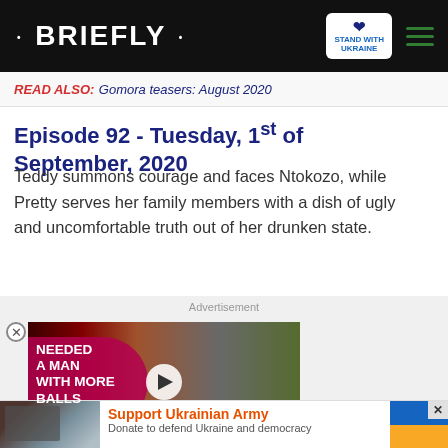• BRIEFLY •
READ ALSO: Gomora teasers: August 2020
Episode 92 - Tuesday, 1st of September, 2020
Teddy summons courage and faces Ntokozo, while Pretty serves her family members with a dish of ugly and uncomfortable truth out of her drunken state.
[Figure (screenshot): Advertisement video thumbnail showing text 'NEEDED A MAN WITH MORE BALLS' on a red background with two people, a play button in the center, and a red chevron-down button at bottom right. Below is a 'Support Ukrainian Army - Donate to defend Ukraine and democracy' banner ad with Ukrainian flag colors.]